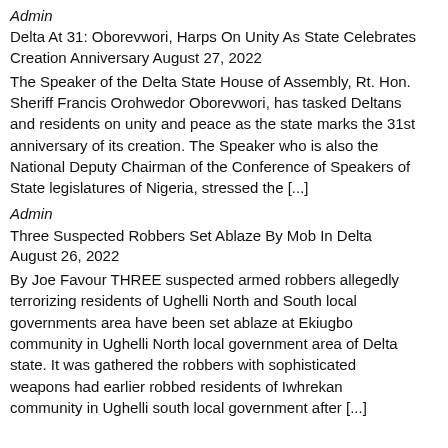Admin
Delta At 31: Oborevwori, Harps On Unity As State Celebrates Creation Anniversary August 27, 2022
The Speaker of the Delta State House of Assembly, Rt. Hon. Sheriff Francis Orohwedor Oborevwori, has tasked Deltans and residents on unity and peace as the state marks the 31st anniversary of its creation. The Speaker who is also the National Deputy Chairman of the Conference of Speakers of State legislatures of Nigeria, stressed the [...]
Admin
Three Suspected Robbers Set Ablaze By Mob In Delta August 26, 2022
By Joe Favour THREE suspected armed robbers allegedly terrorizing residents of Ughelli North and South local governments area have been set ablaze at Ekiugbo community in Ughelli North local government area of Delta state. It was gathered the robbers with sophisticated weapons had earlier robbed residents of Iwhrekan community in Ughelli south local government after [...]